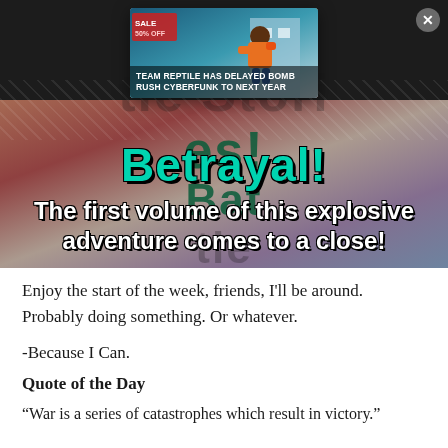[Figure (illustration): Comic book style image with dark background. Large green bold text at top partially reads 'Bat...les!' Big teal/cyan stylized 'Betrayal!' text in center. Bottom tagline: 'The first volume of this explosive adventure comes to a close!' A popup card overlaid shows a character in orange jumping, with text 'TEAM REPTILE HAS DELAYED BOMB RUSH CYBERFUNK TO NEXT YEAR'. An X close button is in top right.]
Enjoy the start of the week, friends, I'll be around. Probably doing something. Or whatever.
-Because I Can.
Quote of the Day
“War is a series of catastrophes which result in victory.”